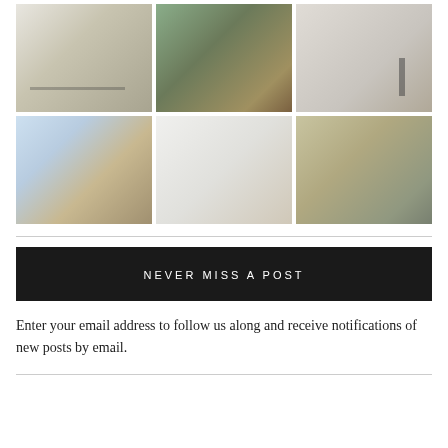[Figure (photo): 3x2 grid of home interior and exterior photos: kitchen with drawer organizers, outdoor stone fireplace, white hallway/door, landscape/mountain view, white built-in shelving unit, stone wall with window]
NEVER MISS A POST
Enter your email address to follow us along and receive notifications of new posts by email.